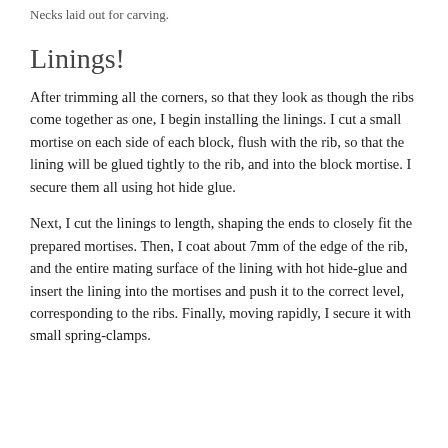Necks laid out for carving.
Linings!
After trimming all the corners, so that they look as though the ribs come together as one, I begin installing the linings. I cut a small mortise on each side of each block, flush with the rib, so that the lining will be glued tightly to the rib, and into the block mortise. I secure them all using hot hide glue.
Next, I cut the linings to length, shaping the ends to closely fit the prepared mortises. Then, I coat about 7mm of the edge of the rib, and the entire mating surface of the lining with hot hide-glue and insert the lining into the mortises and push it to the correct level, corresponding to the ribs. Finally, moving rapidly, I secure it with small spring-clamps.